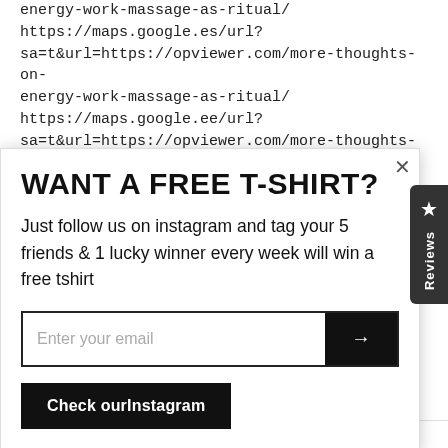energy-work-massage-as-ritual/
https://maps.google.es/url?sa=t&url=https://opviewer.com/more-thoughts-on-energy-work-massage-as-ritual/
https://maps.google.ee/url?sa=t&url=https://opviewer.com/more-thoughts-on-...
WANT A FREE T-SHIRT?
Just follow us on instagram and tag your 5 friends & 1 lucky winner every week will win a free tshirt
Enter your email
Check ourInstagram
https://maps.google.ee/url...